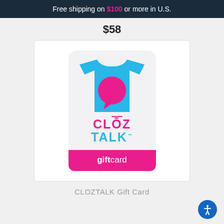Free shipping on $100 or more in U.S.
$58
[Figure (illustration): CLOZTALK gift card product image showing a light blue t-shirt with a pink speech bubble logo, brand name CLOZ TALK in pink and blue, and a pink gift card banner at the bottom]
CLOZTALK Gift Card